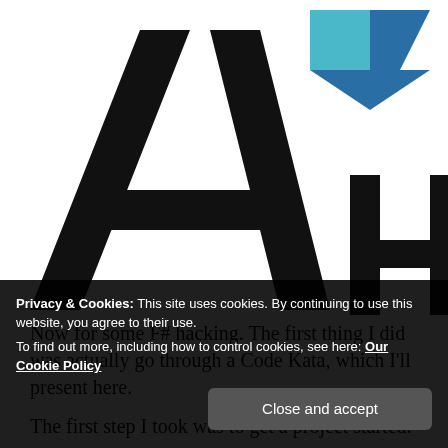[Figure (logo): AH logo — large black letter A on left, blue diamond/arrow shape upper right, black letter H lower right, forming 'AH' monogram]
Now for some F# hacking. The first thing I did was actually go through a Code Kata, which I'll present here.
The first step I took was to get a project started.
Privacy & Cookies: This site uses cookies. By continuing to use this website, you agree to their use. To find out more, including how to control cookies, see here: Our Cookie Policy
Close and accept
[sourcecode language= 'fsharp']